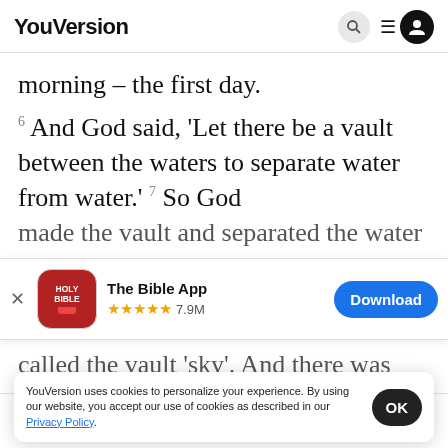YouVersion
morning – the first day.
6 And God said, 'Let there be a vault between the waters to separate water from water.' 7 So God
made the vault and separated the water under the
[Figure (screenshot): The Bible App download banner with app icon (Holy Bible), 5 stars rating 7.9M, and blue Download button]
called the vault 'sky'. And there was evening,
there w
YouVersion uses cookies to personalize your experience. By using our website, you accept our use of cookies as described in our Privacy Policy.
9 And God said, 'Let the water under the sky be
Home  Bible  Plans  Videos